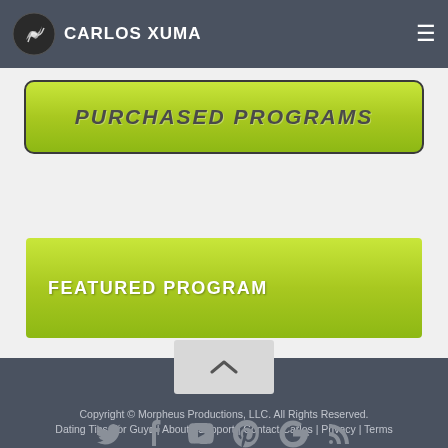CARLOS XUMA
[Figure (other): Green button with text PURCHASED PROGRAMS partially visible at top]
FEATURED PROGRAM
[Figure (other): Back to top arrow button]
Copyright © Morpheus Productions, LLC. All Rights Reserved. Dating Tips For Guys | About | Support | Contact Carlos | Privacy | Terms
[Figure (other): Social media icons: Twitter, Facebook, YouTube, Pinterest, Google+, RSS]